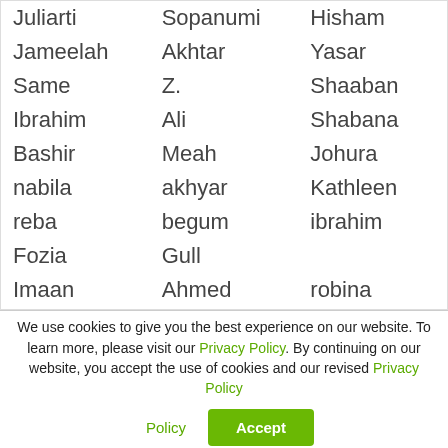| First | Last | Other |
| --- | --- | --- |
| Juliarti | Sopanumi | Hisham |
| Jameelah | Akhtar | Yasar |
| Same | Z. | Shaaban |
| Ibrahim | Ali | Shabana |
| Bashir | Meah | Johura |
| nabila | akhyar | Kathleen |
| reba | begum | ibrahim |
| Fozia | Gull |  |
| Imaan | Ahmed | robina |
| Agung Saras Sri | Widodo | hadia |
| Oliur | Rahman | Norman |
| Umar | Nuraat | Abla |
We use cookies to give you the best experience on our website. To learn more, please visit our Privacy Policy. By continuing on our website, you accept the use of cookies and our revised Privacy Policy